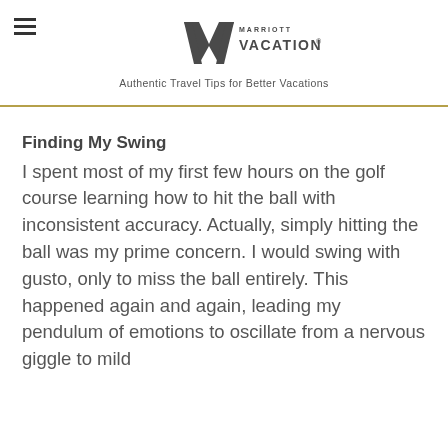Marriott Vacation Club — Authentic Travel Tips for Better Vacations
Finding My Swing
I spent most of my first few hours on the golf course learning how to hit the ball with inconsistent accuracy. Actually, simply hitting the ball was my prime concern. I would swing with gusto, only to miss the ball entirely. This happened again and again, leading my pendulum of emotions to oscillate from a nervous giggle to mild